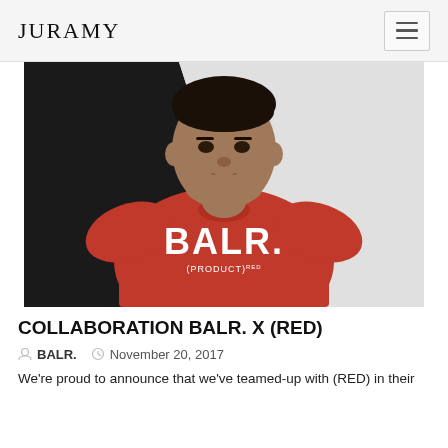JURAMY
[Figure (photo): A man wearing a red BALR. x (PRODUCT)RED t-shirt against a black and white background]
COLLABORATION BALR. X (RED)
BALR.   November 20, 2017
We're proud to announce that we've teamed-up with (RED) in their